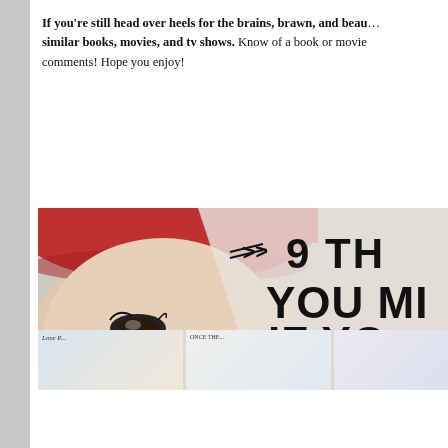If you're still head over heels for the brains, brawn, and beauty of similar books, movies, and tv shows. Know of a book or movie … comments! Hope you enjoy!
[Figure (illustration): Promotional graphic showing a close-up photo of a young woman wearing a red baseball cap, overlaid with large bold text reading '9 TH... YOU MI... IF YO... AGENT...' and dots followed by 'OHSOO...' Below the main image is a row of book covers.]